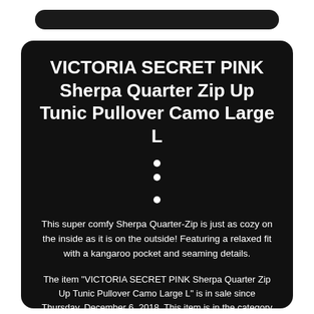VICTORIA SECRET PINK Sherpa Quarter Zip Up Tunic Pullover Camo Large L
This super comfy Sherpa Quarter-Zip is just as cozy on the inside as it is on the outside! Featuring a relaxed fit with a kangaroo pocket and seaming details.
The item "VICTORIA SECRET PINK Sherpa Quarter Zip Up Tunic Pullover Camo Large L" is in sale since Thursday, December 6, 2018. This item is in the category "Clothing, Shoes & Accessories\Women's Clothing\Activewear\Hoodies & Sweatshirts". The seller is "nellybelly628" and is located in Flower Mound, Texas. This item can be shipped to United States, Canada, United Kingdom, Denmark, Romania,